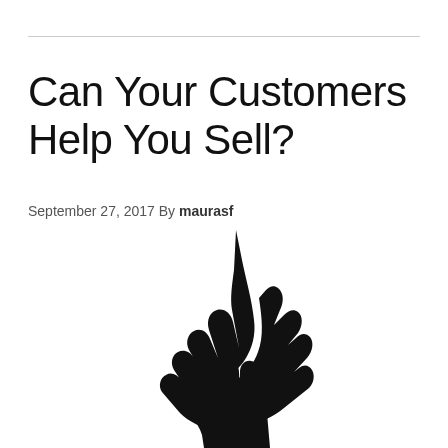Can Your Customers Help You Sell?
September 27, 2017 By maurasf
[Figure (illustration): Black silhouette of two hands reaching toward each other — a large adult hand extending downward from the top and a small child's hand reaching up from the bottom, suggesting a handshake or helping gesture.]